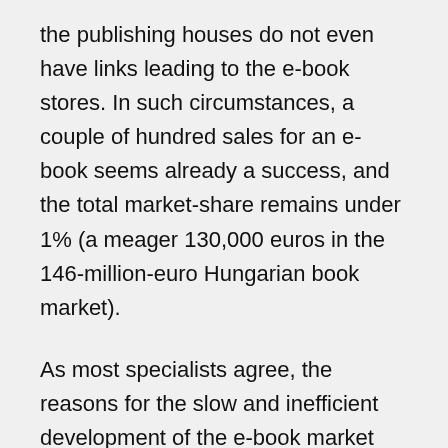the publishing houses do not even have links leading to the e-book stores. In such circumstances, a couple of hundred sales for an e-book seems already a success, and the total market-share remains under 1% (a meager 130,000 euros in the 146-million-euro Hungarian book market).
As most specialists agree, the reasons for the slow and inefficient development of the e-book market are partly cultural and partly bureaucratic. There is no denying the fact that in Hungary (and in the wider region as well) there is a strong culture of internet piracy, based on the almost unquestioned principle that everything downloaded should be free of charge. In a survey conducted at the 2013 Budapest Book Festival, half of the respondents answered that they had read at least one e-book in their lives, but that